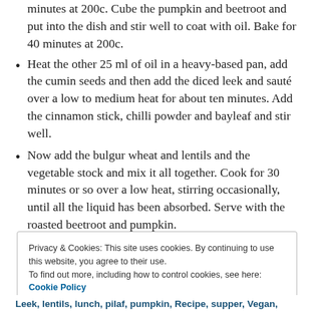minutes at 200c. Cube the pumpkin and beetroot and put into the dish and stir well to coat with oil. Bake for 40 minutes at 200c.
Heat the other 25 ml of oil in a heavy-based pan, add the cumin seeds and then add the diced leek and sauté over a low to medium heat for about ten minutes. Add the cinnamon stick, chilli powder and bayleaf and stir well.
Now add the bulgur wheat and lentils and the vegetable stock and mix it all together. Cook for 30 minutes or so over a low heat, stirring occasionally, until all the liquid has been absorbed. Serve with the roasted beetroot and pumpkin.
Privacy & Cookies: This site uses cookies. By continuing to use this website, you agree to their use. To find out more, including how to control cookies, see here: Cookie Policy
Leek, lentils, lunch, pilaf, pumpkin, Recipe, supper, Vegan,